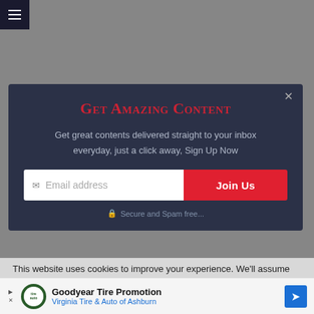[Figure (screenshot): Navigation hamburger menu icon on dark background]
Get Amazing Content
Get great contents delivered straight to your inbox everyday, just a click away, Sign Up Now
Email address  Join Us
Secure and Spam free...
This website uses cookies to improve your experience. We'll assume you're ok with this, but you can opt-out if you wish.
[Figure (infographic): Goodyear Tire Promotion advertisement - Virginia Tire & Auto of Ashburn]